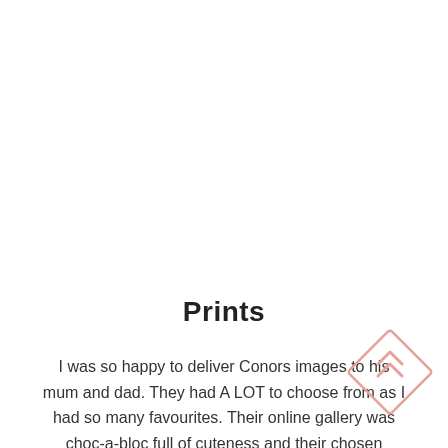Prints
I was so happy to deliver Conors images to his mum and dad. They had A LOT to choose from as I had so many favourites. Their online gallery was choc-a-bloc full of cuteness and their chosen selection is gorgeous. Stunning,
[Figure (illustration): A pink/salmon diamond-shaped icon with two upward-pointing chevrons inside, decorative watermark in lower right corner]